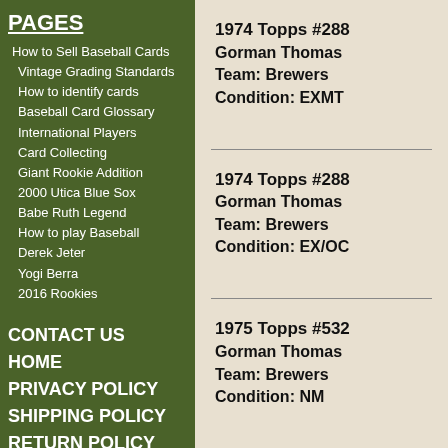PAGES
How to Sell Baseball Cards
Vintage Grading Standards
How to identify cards
Baseball Card Glossary
International Players
Card Collecting
Giant Rookie Addition
2000 Utica Blue Sox
Babe Ruth Legend
How to play Baseball
Derek Jeter
Yogi Berra
2016 Rookies
CONTACT US
HOME
PRIVACY POLICY
SHIPPING POLICY
RETURN POLICY
1974 Topps #288
Gorman Thomas
Team: Brewers
Condition: EXMT
1974 Topps #288
Gorman Thomas
Team: Brewers
Condition: EX/OC
1975 Topps #532
Gorman Thomas
Team: Brewers
Condition: NM